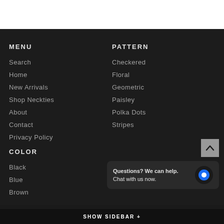MENU
Search
Home
New Arrivals
Shop Neckties
About
Contact
Privacy Policy
PATTERN
Checkered
Floral
Geometric
Paisley
Polka Dots
Stripes
COLOR
Black
Blue
Brown
Questions? We can help.
Chat with us now.
SHOW SIDEBAR +